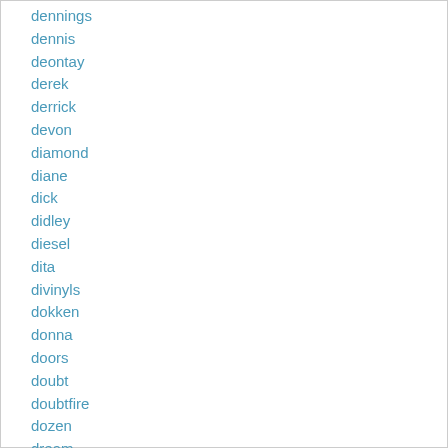dennings
dennis
deontay
derek
derrick
devon
diamond
diane
dick
didley
diesel
dita
divinyls
dokken
donna
doors
doubt
doubtfire
dozen
dream
droz
dude
dudley
duman